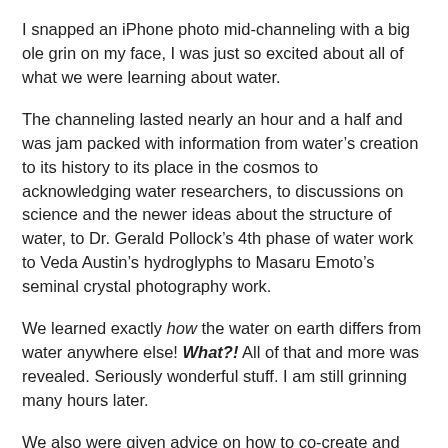I snapped an iPhone photo mid-channeling with a big ole grin on my face, I was just so excited about all of what we were learning about water.
The channeling lasted nearly an hour and a half and was jam packed with information from water's creation to its history to its place in the cosmos to acknowledging water researchers, to discussions on science and the newer ideas about the structure of water, to Dr. Gerald Pollock's 4th phase of water work to Veda Austin's hydroglyphs to Masaru Emoto's seminal crystal photography work.
We learned exactly how the water on earth differs from water anywhere else! What?! All of that and more was revealed. Seriously wonderful stuff. I am still grinning many hours later.
We also were given advice on how to co-create and partner with water as Beyond Quantum Healing Practitioners for the benefit of our clients, our selves and consciousness in general. The June BQH Immersion course will showcase this water element channeling along with associated “hands on” water alchemical consciousness expansion activities including BQH sessions and